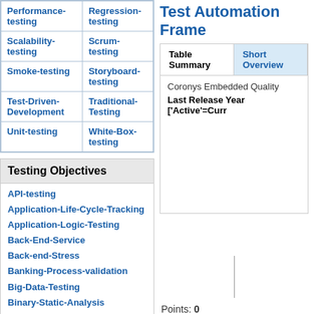| Col1 | Col2 |
| --- | --- |
| Performance-testing | Regression-testing |
| Scalability-testing | Scrum-testing |
| Smoke-testing | Storyboard-testing |
| Test-Driven-Development | Traditional-Testing |
| Unit-testing | White-Box-testing |
Testing Objectives
API-testing
Application-Life-Cycle-Tracking
Application-Logic-Testing
Back-End-Service
Back-end-Stress
Banking-Process-validation
Big-Data-Testing
Binary-Static-Analysis
Binding-Unit-Testing
Code-Analysis
Test Automation Frame...
| Table Summary | Short Overview |
| --- | --- |
| Coronys Embedded Quality |  |
| Last Release Year ['Active'=Curr... |  |
Points: 0
You voted 'up'